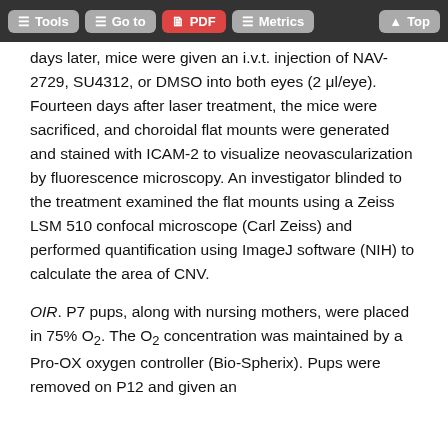Tools | Go to | PDF | Metrics | Top
days later, mice were given an i.v.t. injection of NAV-2729, SU4312, or DMSO into both eyes (2 μl/eye). Fourteen days after laser treatment, the mice were sacrificed, and choroidal flat mounts were generated and stained with ICAM-2 to visualize neovascularization by fluorescence microscopy. An investigator blinded to the treatment examined the flat mounts using a Zeiss LSM 510 confocal microscope (Carl Zeiss) and performed quantification using ImageJ software (NIH) to calculate the area of CNV.
OIR. P7 pups, along with nursing mothers, were placed in 75% O₂. The O₂ concentration was maintained by a Pro-OX oxygen controller (Bio-Spherix). Pups were removed on P12 and given an